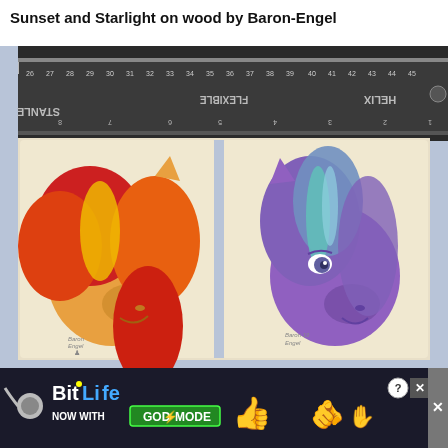Sunset and Starlight on wood by Baron-Engel
[Figure (photo): Photograph of two small wood panel paintings of My Little Pony characters (Sunset Shimmer and Starlight Glimmer) placed beneath a metal ruler (Stanley Flexible Helix), showing measurements 26-45 on top scale and reversed scale below. Signed 'Baron Engel 19'.]
[Figure (other): Advertisement banner for BitLife mobile game: dark background with logo, text 'NOW WITH GOD MODE', thumbs up emoji, pointing hand emoji, help icon, and close buttons.]